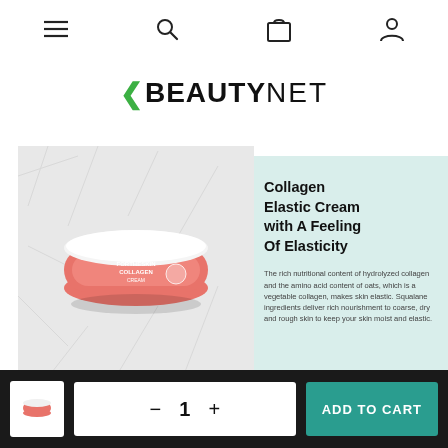Navigation bar with menu, search, cart, and account icons
KBEAUTYNET
[Figure (photo): Product photo of Fortheskin Collagen cream jar, pink/red container with white lid on crinkled white paper background]
Collagen Elastic Cream with A Feeling Of Elasticity
The rich nutritional content of hydrolyzed collagen and the amino acid content of oats, which is a vegetable collagen, makes skin elastic. Squalane ingredients deliver rich nourishment to coarse, dry and rough skin to keep your skin moist and elastic.
ADD TO CART  −  1  +